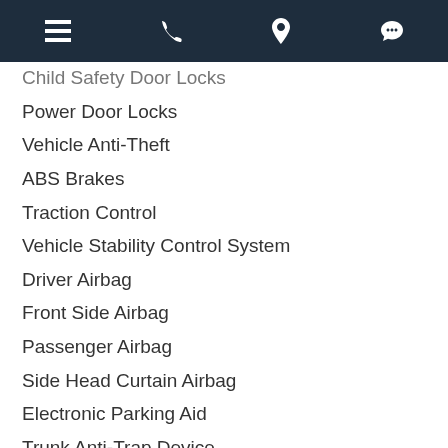navigation bar with menu, phone, location, and chat icons
Child Safety Door Locks
Power Door Locks
Vehicle Anti-Theft
ABS Brakes
Traction Control
Vehicle Stability Control System
Driver Airbag
Front Side Airbag
Passenger Airbag
Side Head Curtain Airbag
Electronic Parking Aid
Trunk Anti-Trap Device
Keyless Entry
Air Conditioning
Separate Driver/Front Passenger Climate Controls
Cruise Control